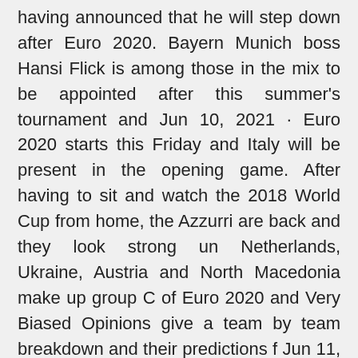having announced that he will step down after Euro 2020. Bayern Munich boss Hansi Flick is among those in the mix to be appointed after this summer's tournament and Jun 10, 2021 · Euro 2020 starts this Friday and Italy will be present in the opening game. After having to sit and watch the 2018 World Cup from home, the Azzurri are back and they look strong un Netherlands, Ukraine, Austria and North Macedonia make up group C of Euro 2020 and Very Biased Opinions give a team by team breakdown and their predictions f Jun 11, 2021 · Austria vs North Macedonia Euro 2020 Tips and Predictions: Locked In Lynx Austria's best chance at a win in Group C will come in their opener against North Macedonia on Sunday. Will they need more Jun 12, 2021 · Euro 2020 group stage predictions. Group i of the uefa women's euro 2021 qualifying competition consists of five teams: You will